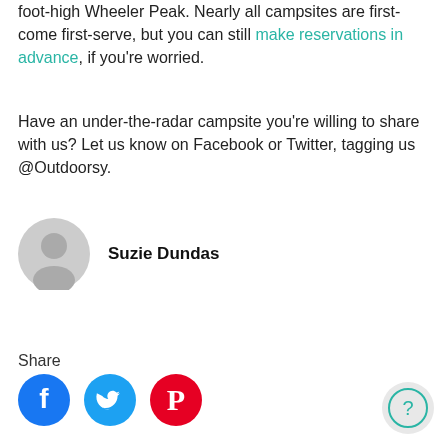foot-high Wheeler Peak. Nearly all campsites are first-come first-serve, but you can still make reservations in advance, if you're worried.
Have an under-the-radar campsite you're willing to share with us? Let us know on Facebook or Twitter, tagging us @Outdoorsy.
Suzie Dundas
Share